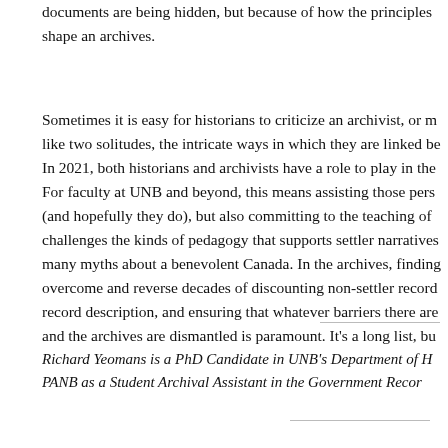documents are being hidden, but because of how the principles shape an archives.
Sometimes it is easy for historians to criticize an archivist, or more like two solitudes, the intricate ways in which they are linked be… In 2021, both historians and archivists have a role to play in the… For faculty at UNB and beyond, this means assisting those pers… (and hopefully they do), but also committing to the teaching of … challenges the kinds of pedagogy that supports settler narratives… many myths about a benevolent Canada. In the archives, finding… overcome and reverse decades of discounting non-settler record… record description, and ensuring that whatever barriers there are… and the archives are dismantled is paramount. It's a long list, bu…
Richard Yeomans is a PhD Candidate in UNB's Department of H… PANB as a Student Archival Assistant in the Government Recor…